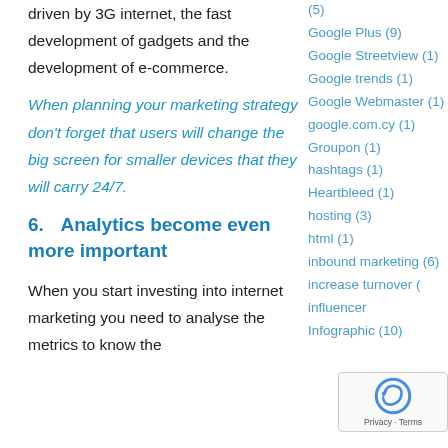driven by 3G internet, the fast development of gadgets and the development of e-commerce.
When planning your marketing strategy don't forget that users will change the big screen for smaller devices that they will carry 24/7.
6.    Analytics become even more important
When you start investing into internet marketing you need to analyse the metrics to know the
(5)
Google Plus (9)
Google Streetview (1)
Google trends (1)
Google Webmaster (1)
google.com.cy (1)
Groupon (1)
hashtags (1)
Heartbleed (1)
hosting (3)
html (1)
inbound marketing (6)
increase turnover (
influencer
Infographic (10)